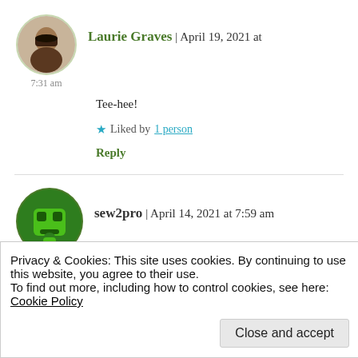Laurie Graves | April 19, 2021 at 7:31 am
Tee-hee!
★ Liked by 1 person
Reply
sew2pro | April 14, 2021 at 7:59 am
A real beauty spot (and I do like that wood colour). I
Privacy & Cookies: This site uses cookies. By continuing to use this website, you agree to their use.
To find out more, including how to control cookies, see here: Cookie Policy
Close and accept